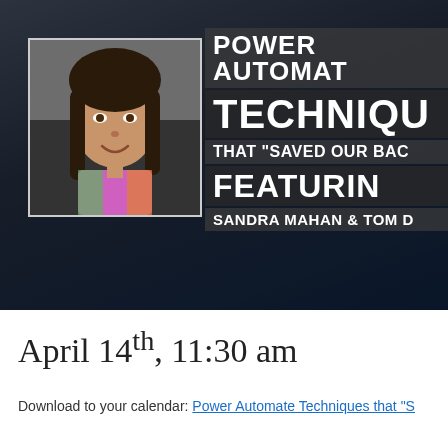[Figure (photo): Banner image with a woman with dark hair smiling in a car, overlaid with bold text about Power Automate Techniques. Text reads: POWER AUTOMATE TECHNIQUES THAT SAVED OUR BACO... FEATURING SANDRA MAHAN & TOM DI...]
April 14th, 11:30 am
Download to your calendar: Power Automate Techniques that "S...